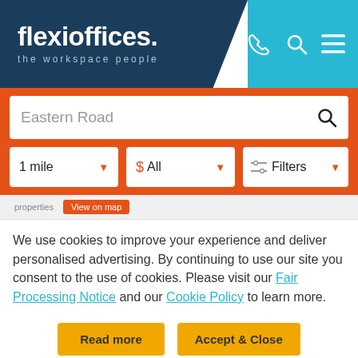[Figure (screenshot): Flexioffices website header with dark navy logo area and cyan navigation icon area]
[Figure (screenshot): Orange search bar with 'Eastern Road' text input, 1 mile dropdown, $ All dropdown, and Filters dropdown]
We use cookies to improve your experience and deliver personalised advertising. By continuing to use our site you consent to the use of cookies. Please visit our Fair Processing Notice and our Cookie Policy to learn more.
[Figure (screenshot): Two yellow buttons: 'Read more' and 'Accept & Close']
15 William Street, Melbourne, ...
Serviced offices from $350